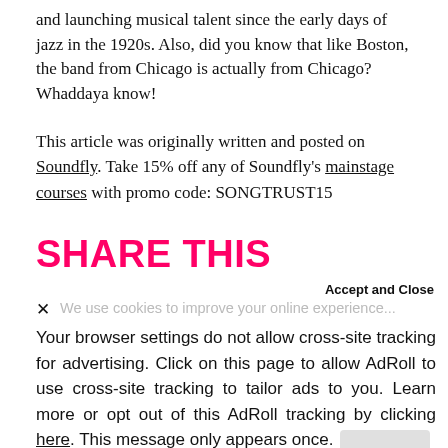and launching musical talent since the early days of jazz in the 1920s. Also, did you know that like Boston, the band from Chicago is actually from Chicago? Whaddaya know!
This article was originally written and posted on Soundfly. Take 15% off any of Soundfly's mainstage courses with promo code: SONGTRUST15
SHARE THIS ARTICLE:
Accept and Close
We use cookies to improve your online experience...
Your browser settings do not allow cross-site tracking for advertising. Click on this page to allow AdRoll to use cross-site tracking to tailor ads to you. Learn more or opt out of this AdRoll tracking by clicking here. This message only appears once.